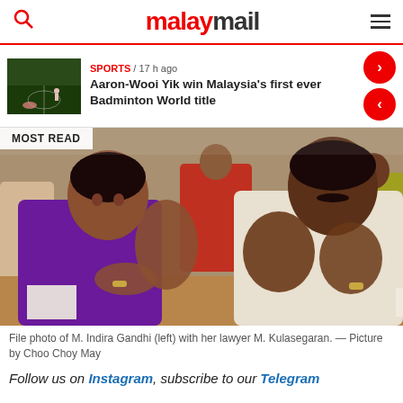malaymail
SPORTS / 17 h ago
Aaron-Wooi Yik win Malaysia's first ever Badminton World title
[Figure (photo): File photo of M. Indira Gandhi (left) with her lawyer M. Kulasegaran, seated at a table, both gesturing with hands, with people in background. Tagged 'MOST READ'.]
File photo of M. Indira Gandhi (left) with her lawyer M. Kulasegaran. — Picture by Choo Choy May
Follow us on Instagram, subscribe to our Telegram